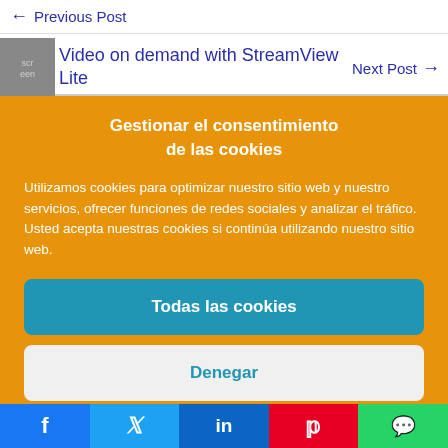← Previous Post
Video on demand with StreamView Lite
Next Post →
Gestionar el consentimiento de las cookies
Utilizamos cookies para optimizar nuestro sitio web y nuestro servicios, ofrecer funciones de redes sociales y analizar el tráfico. Usted acepta nuestras cookies si continúa utilizando nuestro sitio web.
Todas las cookies
Denegar
Ver preferencias
[Figure (other): Social media share bar with Facebook, Twitter, LinkedIn, Pinterest, and WhatsApp icons]